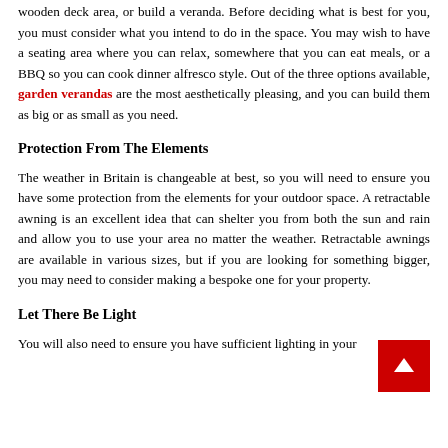extending your living area outside your home, and you have a few options available. You can build a patio area using paving slabs, add a wooden deck area, or build a veranda. Before deciding what is best for you, you must consider what you intend to do in the space. You may wish to have a seating area where you can relax, somewhere that you can eat meals, or a BBQ so you can cook dinner alfresco style. Out of the three options available, garden verandas are the most aesthetically pleasing, and you can build them as big or as small as you need.
Protection From The Elements
The weather in Britain is changeable at best, so you will need to ensure you have some protection from the elements for your outdoor space. A retractable awning is an excellent idea that can shelter you from both the sun and rain and allow you to use your area no matter the weather. Retractable awnings are available in various sizes, but if you are looking for something bigger, you may need to consider making a bespoke one for your property.
Let There Be Light
You will also need to ensure you have sufficient lighting in your